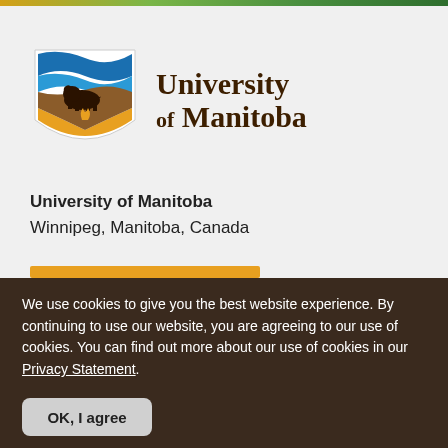[Figure (logo): University of Manitoba shield logo with bison, blue waves, and gold flame, alongside text 'University of Manitoba']
University of Manitoba
Winnipeg, Manitoba, Canada
We use cookies to give you the best website experience. By continuing to use our website, you are agreeing to our use of cookies. You can find out more about our use of cookies in our Privacy Statement.
OK, I agree